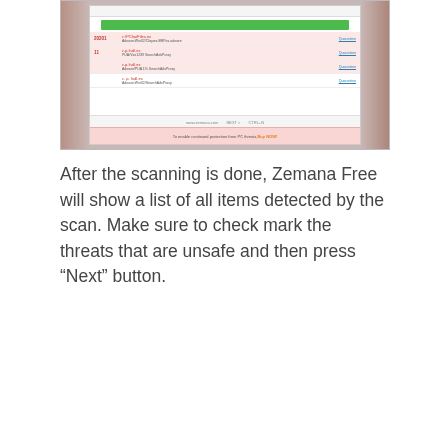[Figure (screenshot): Screenshot of Zemana Free antivirus scan results interface showing a list of detected threats with red highlighted items, a green progress bar at the top, and a footer prompting to continue protection.]
After the scanning is done, Zemana Free will show a list of all items detected by the scan. Make sure to check mark the threats that are unsafe and then press “Next” button.